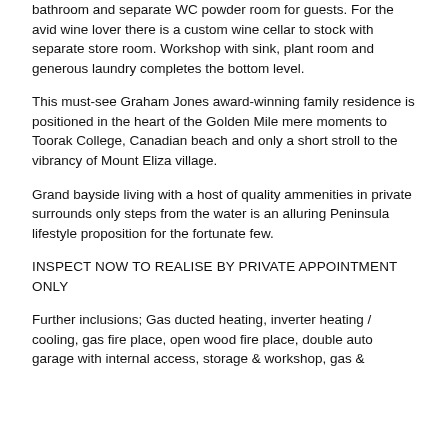bathroom and separate WC powder room for guests. For the avid wine lover there is a custom wine cellar to stock with separate store room. Workshop with sink, plant room and generous laundry completes the bottom level.
This must-see Graham Jones award-winning family residence is positioned in the heart of the Golden Mile mere moments to Toorak College, Canadian beach and only a short stroll to the vibrancy of Mount Eliza village.
Grand bayside living with a host of quality ammenities in private surrounds only steps from the water is an alluring Peninsula lifestyle proposition for the fortunate few.
INSPECT NOW TO REALISE BY PRIVATE APPOINTMENT ONLY
Further inclusions; Gas ducted heating, inverter heating / cooling, gas fire place, open wood fire place, double auto garage with internal access, storage & workshop, gas &